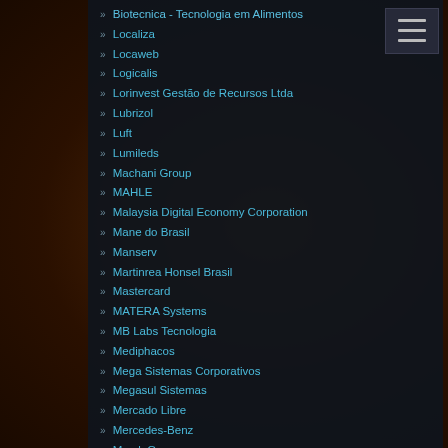Biotecnica - Tecnologia em Alimentos
Localiza
Locaweb
Logicalis
Lorinvest Gestão de Recursos Ltda
Lubrizol
Luft
Lumileds
Machani Group
MAHLE
Malaysia Digital Economy Corporation
Mane do Brasil
Manserv
Martinrea Honsel Brasil
Mastercard
MATERA Systems
MB Labs Tecnologia
Mediphacos
Mega Sistemas Corporativos
Megasul Sistemas
Mercado Libre
Mercedes-Benz
Merck Group
Meritor do Brasil
Meta
Meta Central de Serviços
Metagal
Metalsa
MGITECH